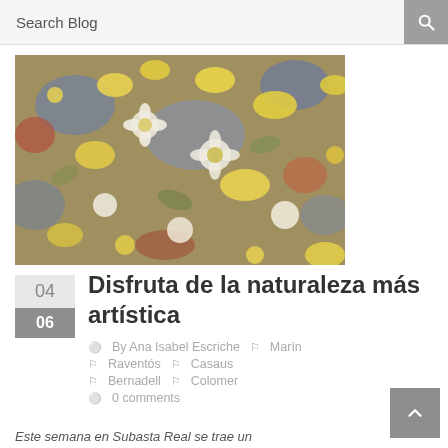Search Blog
[Figure (photo): Impressionist-style painting of colorful flowers — yellow, white, blue, and red blossoms covering the entire canvas in a dense floral pattern.]
04
06
Disfruta de la naturaleza más artística
By Ana Isabel Escriche   Marín
Raventós   Casaus
Bernadell   Colomer
0 comments
Este semana en Subasta Real se trae una